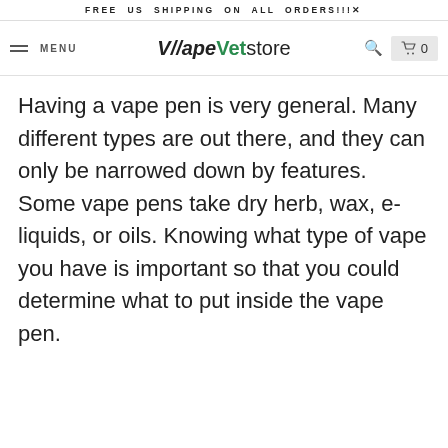FREE US SHIPPING ON ALL ORDERS!!!  X
MENU  VapeVetstore  [search] [cart 0]
Having a vape pen is very general. Many different types are out there, and they can only be narrowed down by features. Some vape pens take dry herb, wax, e-liquids, or oils. Knowing what type of vape you have is important so that you could determine what to put inside the vape pen.